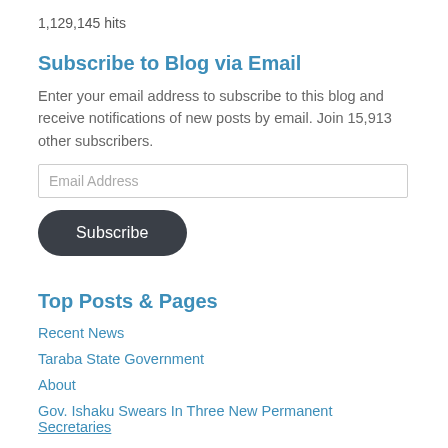1,129,145 hits
Subscribe to Blog via Email
Enter your email address to subscribe to this blog and receive notifications of new posts by email. Join 15,913 other subscribers.
Top Posts & Pages
Recent News
Taraba State Government
About
Gov. Ishaku Swears In Three New Permanent Secretaries